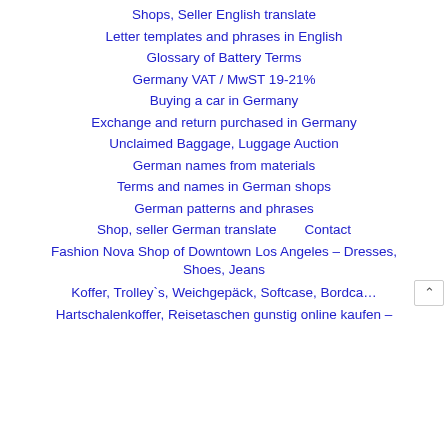Shops, Seller English translate
Letter templates and phrases in English
Glossary of Battery Terms
Germany VAT / MwST 19-21%
Buying a car in Germany
Exchange and return purchased in Germany
Unclaimed Baggage, Luggage Auction
German names from materials
Terms and names in German shops
German patterns and phrases
Shop, seller German translate    Contact
Fashion Nova Shop of Downtown Los Angeles – Dresses, Shoes, Jeans
Koffer, Trolley`s, Weichgepäck, Softcase, Bordca…
Hartschalenkoffer, Reisetaschen gunstig online kaufen –